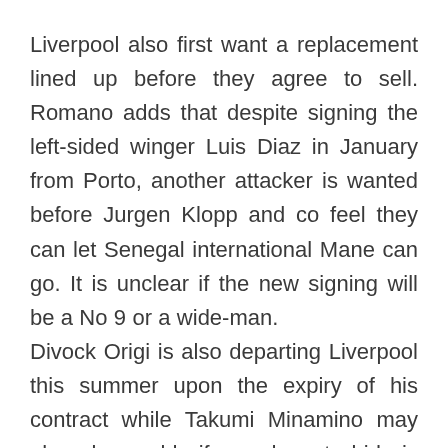Liverpool also first want a replacement lined up before they agree to sell. Romano adds that despite signing the left-sided winger Luis Diaz in January from Porto, another attacker is wanted before Jurgen Klopp and co feel they can let Senegal international Mane can go. It is unclear if the new signing will be a No 9 or a wide-man.
Divock Origi is also departing Liverpool this summer upon the expiry of his contract while Takumi Minamino may also be sold if a decent bid is submitted.
Were all three of Mane, Origi and Minamino to leave that would leave Diaz, Mohamed Salah, Roberto Firmino and Diogo Jota as the only out-and-out senior forwards at the club. It is not mentioned which players